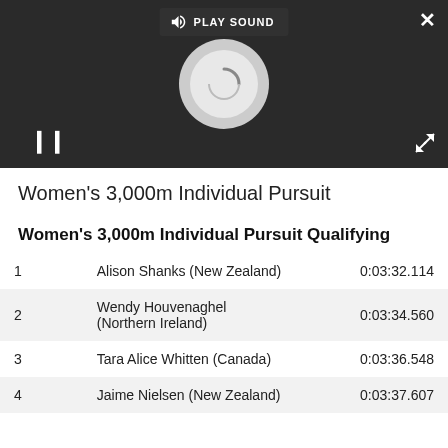[Figure (screenshot): Video player UI with dark background showing a loading spinner and pause button, with a 'PLAY SOUND' bar at top and close/expand buttons.]
Women's 3,000m Individual Pursuit
Women's 3,000m Individual Pursuit Qualifying
|  | Name | Time |
| --- | --- | --- |
| 1 | Alison Shanks (New Zealand) | 0:03:32.114 |
| 2 | Wendy Houvenaghel (Northern Ireland) | 0:03:34.560 |
| 3 | Tara Alice Whitten (Canada) | 0:03:36.548 |
| 4 | Jaime Nielsen (New Zealand) | 0:03:37.607 |